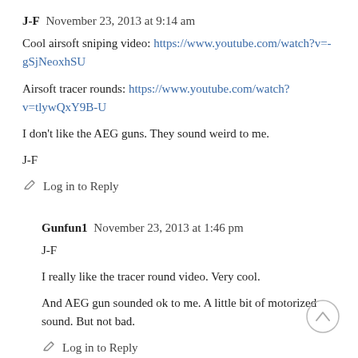J-F  November 23, 2013 at 9:14 am
Cool airsoft sniping video: https://www.youtube.com/watch?v=-gSjNeoxhSU
Airsoft tracer rounds: https://www.youtube.com/watch?v=tlywQxY9B-U

I don't like the AEG guns. They sound weird to me.

J-F
Log in to Reply
Gunfun1  November 23, 2013 at 1:46 pm
J-F
I really like the tracer round video. Very cool.
And AEG gun sounded ok to me. A little bit of motorized sound. But not bad.
Log in to Reply